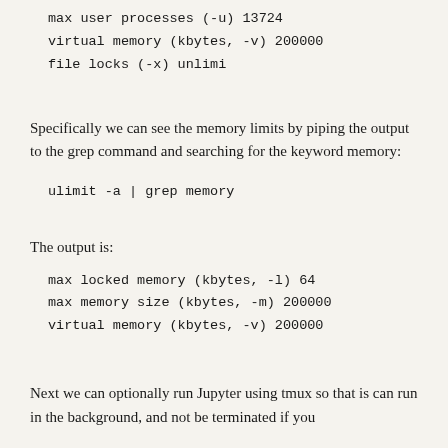max user processes                 (-u) 13724
virtual memory          (kbytes, -v) 200000
file locks                         (-x) unlimited
Specifically we can see the memory limits by piping the output to the grep command and searching for the keyword memory:
ulimit -a | grep memory
The output is:
max locked memory       (kbytes, -l) 64
max memory size         (kbytes, -m) 200000
virtual memory          (kbytes, -v) 200000
Next we can optionally run Jupyter using tmux so that is can run in the background, and not be terminated if you